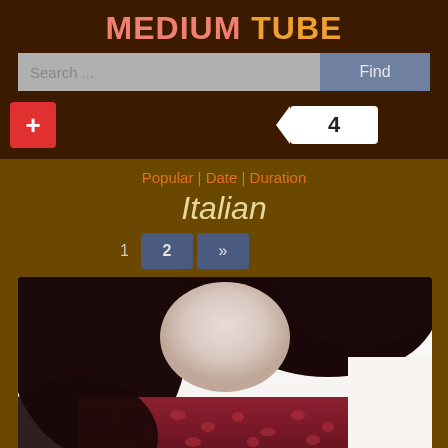MEDIUM TUBE
Search ...
Find
+
4
Popular | Date | Duration
Italian
1
2
»
[Figure (photo): Thumbnail photo of a woman with dark curly hair wearing a dark red/maroon lace knit top, photo cropped at neck/shoulder area]